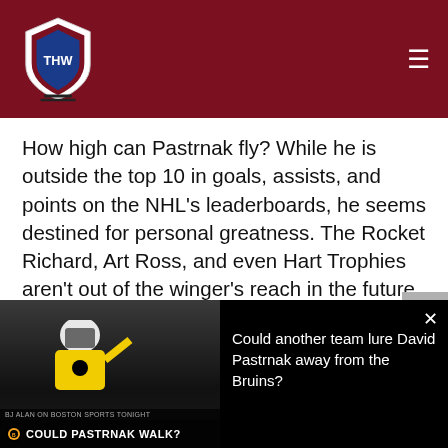THW - The Hockey Writers
How high can Pastrnak fly? While he is outside the top 10 in goals, assists, and points on the NHL's leaderboards, he seems destined for personal greatness. The Rocket Richard, Art Ross, and even Hart Trophies aren't out of the winger's reach in the future given how much he has escalated his level of play over the course of the last three seasons.
[Figure (screenshot): Video thumbnail showing Boston Bruins player with overlay text 'COULD PASTRNAK WALK?']
Could another team lure David Pastrnak away from the Bruins?
[Figure (infographic): Advertisement: New Hearing Discovery is... n/a]